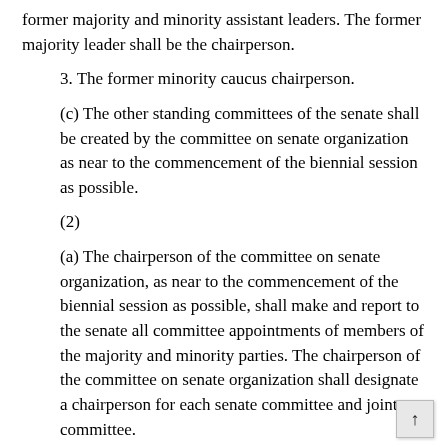former majority and minority assistant leaders. The former majority leader shall be the chairperson.
3. The former minority caucus chairperson.
(c) The other standing committees of the senate shall be created by the committee on senate organization as near to the commencement of the biennial session as possible.
(2)
(a) The chairperson of the committee on senate organization, as near to the commencement of the biennial session as possible, shall make and report to the senate all committee appointments of members of the majority and minority parties. The chairperson of the committee on senate organization shall designate a chairperson for each senate committee and joint committee.